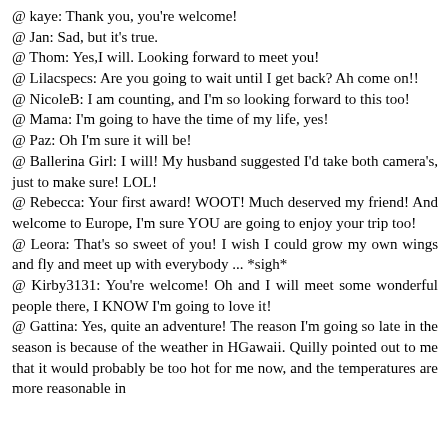@ kaye: Thank you, you're welcome!
@ Jan: Sad, but it's true.
@ Thom: Yes,I will. Looking forward to meet you!
@ Lilacspecs: Are you going to wait until I get back? Ah come on!!
@ NicoleB: I am counting, and I'm so looking forward to this too!
@ Mama: I'm going to have the time of my life, yes!
@ Paz: Oh I'm sure it will be!
@ Ballerina Girl: I will! My husband suggested I'd take both camera's, just to make sure! LOL!
@ Rebecca: Your first award! WOOT! Much deserved my friend! And welcome to Europe, I'm sure YOU are going to enjoy your trip too!
@ Leora: That's so sweet of you! I wish I could grow my own wings and fly and meet up with everybody ... *sigh*
@ Kirby3131: You're welcome! Oh and I will meet some wonderful people there, I KNOW I'm going to love it!
@ Gattina: Yes, quite an adventure! The reason I'm going so late in the season is because of the weather in HGawaii. Quilly pointed out to me that it would probably be too hot for me now, and the temperatures are more reasonable in